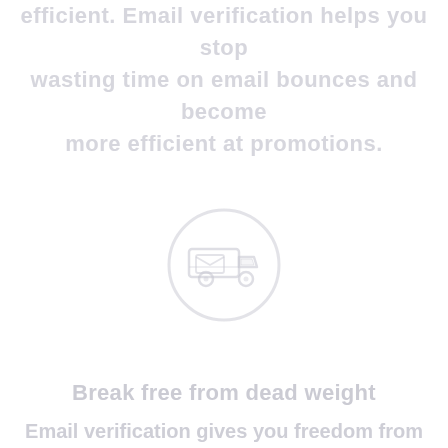efficient. Email verification helps you stop wasting time on email bounces and become more efficient at promotions.
[Figure (illustration): A light gray circular icon depicting a delivery truck / email delivery vehicle, representing email verification or delivery concept.]
Break free from dead weight
Email verification gives you freedom from...